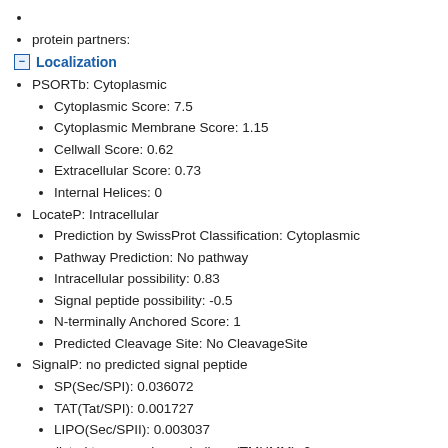protein partners:
Localization
PSORTb: Cytoplasmic
Cytoplasmic Score: 7.5
Cytoplasmic Membrane Score: 1.15
Cellwall Score: 0.62
Extracellular Score: 0.73
Internal Helices: 0
LocateP: Intracellular
Prediction by SwissProt Classification: Cytoplasmic
Pathway Prediction: No pathway
Intracellular possibility: 0.83
Signal peptide possibility: -0.5
N-terminally Anchored Score: 1
Predicted Cleavage Site: No CleavageSite
SignalP: no predicted signal peptide
SP(Sec/SPI): 0.036072
TAT(Tat/SPI): 0.001727
LIPO(Sec/SPII): 0.003037
predicted transmembrane helices (TMHMM): 0